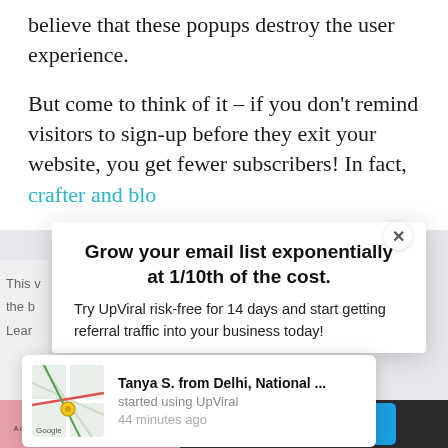believe that these popups destroy the user experience.
But come to think of it – if you don't remind visitors to sign-up before they exit your website, you get fewer subscribers! In fact, crafter and blo...
[Figure (screenshot): A popup modal overlay on a webpage. The popup reads: 'Grow your email list exponentially at 1/10th of the cost.' with subtext 'Try UpViral risk-free for 14 days and start getting referral traffic into your business today.' A close X button is in the top right. A social proof notification appears below the popup showing a Google Maps thumbnail and text: 'Tanya S. from Delhi, National ... started using UpViral 44 minutes ago'. A blue button is partially visible on the right side.]